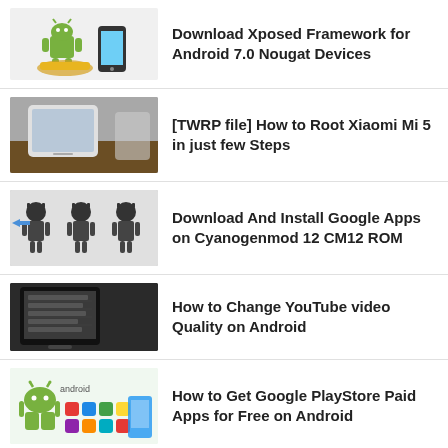Download Xposed Framework for Android 7.0 Nougat Devices
[TWRP file] How to Root Xiaomi Mi 5 in just few Steps
Download And Install Google Apps on Cyanogenmod 12 CM12 ROM
How to Change YouTube video Quality on Android
How to Get Google PlayStore Paid Apps for Free on Android
Download Gapps for Android 7.0/7.1 Nougat [CM14, CM14.1 Gapps 7.0]